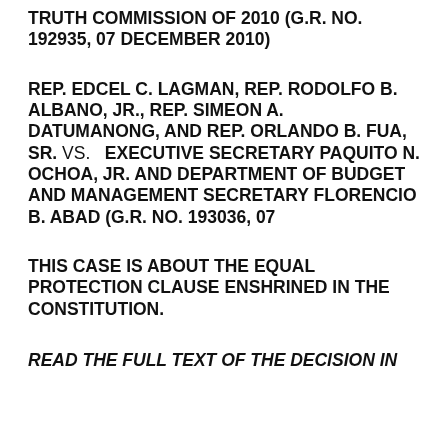TRUTH COMMISSION OF 2010 (G.R. NO. 192935, 07 DECEMBER 2010)
REP. EDCEL C. LAGMAN, REP. RODOLFO B. ALBANO, JR., REP. SIMEON A. DATUMANONG, AND REP. ORLANDO B. FUA, SR. VS. EXECUTIVE SECRETARY PAQUITO N. OCHOA, JR. AND DEPARTMENT OF BUDGET AND MANAGEMENT SECRETARY FLORENCIO B. ABAD (G.R. NO. 193036, 07
THIS CASE IS ABOUT THE EQUAL PROTECTION CLAUSE ENSHRINED IN THE CONSTITUTION.
READ THE FULL TEXT OF THE DECISION IN